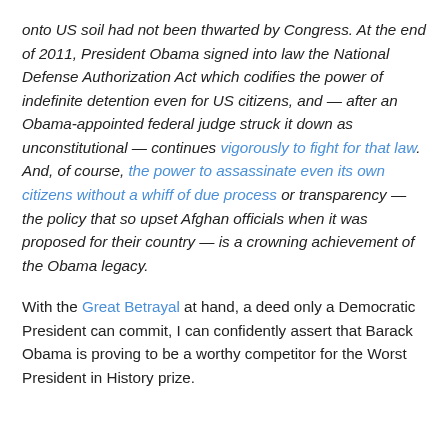onto US soil had not been thwarted by Congress. At the end of 2011, President Obama signed into law the National Defense Authorization Act which codifies the power of indefinite detention even for US citizens, and — after an Obama-appointed federal judge struck it down as unconstitutional — continues vigorously to fight for that law. And, of course, the power to assassinate even its own citizens without a whiff of due process or transparency — the policy that so upset Afghan officials when it was proposed for their country — is a crowning achievement of the Obama legacy.
With the Great Betrayal at hand, a deed only a Democratic President can commit, I can confidently assert that Barack Obama is proving to be a worthy competitor for the Worst President in History prize.